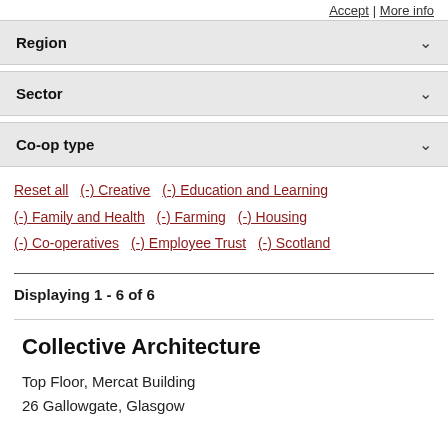Accept | More info
Region
Sector
Co-op type
Reset all
(-) Creative
(-) Education and Learning
(-) Family and Health
(-) Farming
(-) Housing
(-) Co-operatives
(-) Employee Trust
(-) Scotland
Displaying 1 - 6 of 6
Collective Architecture
Top Floor, Mercat Building
26 Gallowgate, Glasgow